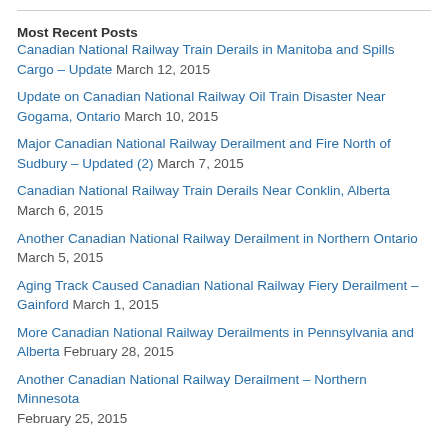Most Recent Posts
Canadian National Railway Train Derails in Manitoba and Spills Cargo – Update March 12, 2015
Update on Canadian National Railway Oil Train Disaster Near Gogama, Ontario March 10, 2015
Major Canadian National Railway Derailment and Fire North of Sudbury – Updated (2) March 7, 2015
Canadian National Railway Train Derails Near Conklin, Alberta March 6, 2015
Another Canadian National Railway Derailment in Northern Ontario March 5, 2015
Aging Track Caused Canadian National Railway Fiery Derailment – Gainford March 1, 2015
More Canadian National Railway Derailments in Pennsylvania and Alberta February 28, 2015
Another Canadian National Railway Derailment – Northern Minnesota February 25, 2015